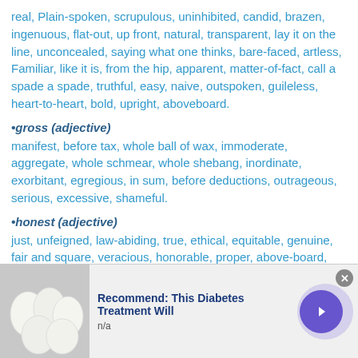real, Plain-spoken, scrupulous, uninhibited, candid, brazen, ingenuous, flat-out, up front, natural, transparent, lay it on the line, unconcealed, saying what one thinks, bare-faced, artless, Familiar, like it is, from the hip, apparent, matter-of-fact, call a spade a spade, truthful, easy, naive, outspoken, guileless, heart-to-heart, bold, upright, aboveboard.
•gross (adjective)
manifest, before tax, whole ball of wax, immoderate, aggregate, whole schmear, whole shebang, inordinate, exorbitant, egregious, in sum, before deductions, outrageous, serious, excessive, shameful.
•honest (adjective)
just, unfeigned, law-abiding, true, ethical, equitable, genuine, fair and square, veracious, honorable, proper, above-board, reputable, virtuous, on the up and up
[Figure (screenshot): Advertisement bar at bottom: image of white eggs on left, text 'Recommend: This Diabetes Treatment Will' and 'n/a', close button, and purple arrow button on right.]